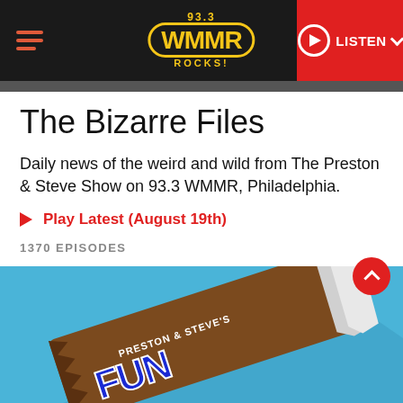[Figure (screenshot): 93.3 WMMR Rocks! radio station website header with logo, hamburger menu, and red LISTEN button]
The Bizarre Files
Daily news of the weird and wild from The Preston & Steve Show on 93.3 WMMR, Philadelphia.
Play Latest (August 19th)
1370 EPISODES
[Figure (illustration): Preston & Steve's Fun candy bar illustration on blue background]